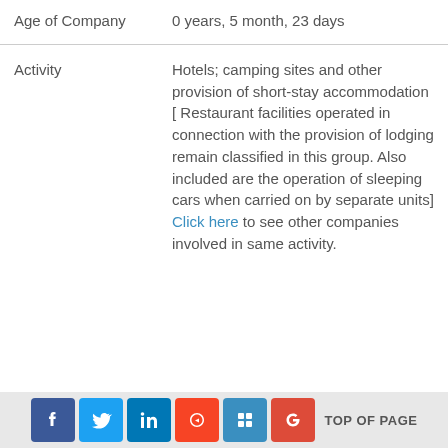| Field | Value |
| --- | --- |
| Age of Company | 0 years, 5 month, 23 days |
| Activity | Hotels; camping sites and other provision of short-stay accommodation [ Restaurant facilities operated in connection with the provision of lodging remain classified in this group. Also included are the operation of sleeping cars when carried on by separate units]
Click here to see other companies involved in same activity. |
TOP OF PAGE